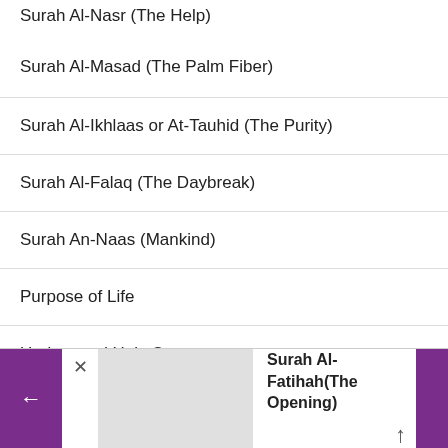Surah Al-Nasr (The Help)
Surah Al-Masad (The Palm Fiber)
Surah Al-Ikhlaas or At-Tauhid (The Purity)
Surah Al-Falaq (The Daybreak)
Surah An-Naas (Mankind)
Purpose of Life
Understand Holy Quran
Surah Al-Fatihah(The Opening)